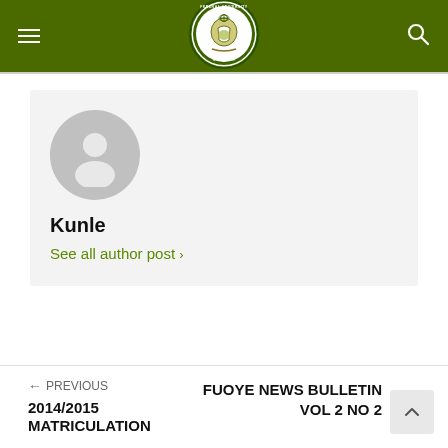Federal University OYE-EKITI – navigation header with hamburger menu and search icon
[Figure (logo): Federal University OYE-EKITI circular seal/logo on dark olive-green header bar]
Kunle
See all author post >
← PREVIOUS
2014/2015 MATRICULATION
FUOYE NEWS BULLETIN VOL 2 NO 2